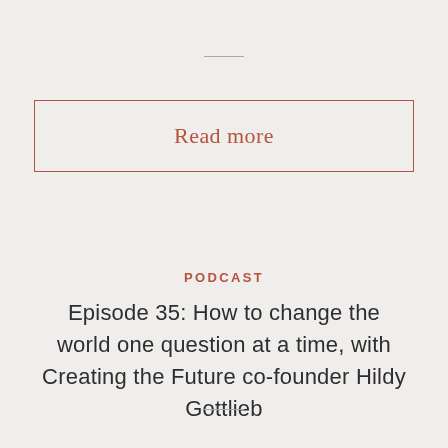Read more
PODCAST
Episode 35: How to change the world one question at a time, with Creating the Future co-founder Hildy Gottlieb